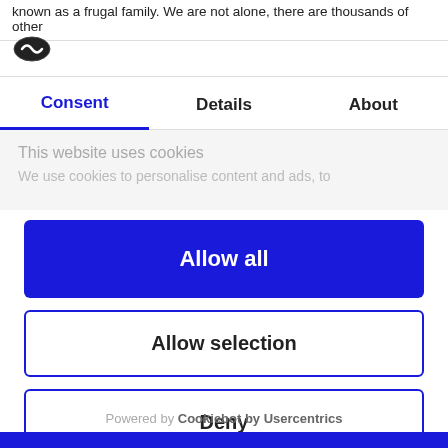known as a frugal family. We are not alone, there are thousands of other
[Figure (logo): Cookiebot logo - dark oval shield icon]
Consent | Details | About
This website uses cookies
We use cookies to personalise content and ads, to
Allow all
Allow selection
Deny
Powered by Cookiebot by Usercentrics